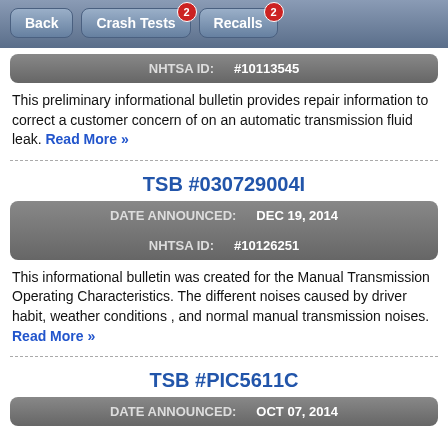Back | Crash Tests (2) | Recalls (2)
| NHTSA ID: | #10113545 |
| --- | --- |
This preliminary informational bulletin provides repair information to correct a customer concern of on an automatic transmission fluid leak. Read More »
TSB #030729004I
| DATE ANNOUNCED: | DEC 19, 2014 |
| --- | --- |
| NHTSA ID: | #10126251 |
This informational bulletin was created for the Manual Transmission Operating Characteristics. The different noises caused by driver habit, weather conditions , and normal manual transmission noises. Read More »
TSB #PIC5611C
| DATE ANNOUNCED: | OCT 07, 2014 |
| --- | --- |